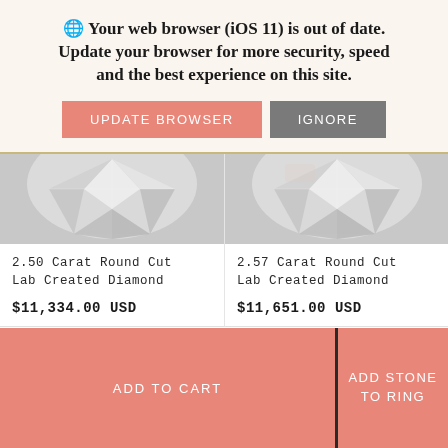🌐 Your web browser (iOS 11) is out of date. Update your browser for more security, speed and the best experience on this site.
UPDATE BROWSER   IGNORE
[Figure (photo): Close-up photo of two round cut lab created diamonds, showing facets and sparkle]
2.50 Carat Round Cut Lab Created Diamond
$11,334.00 USD
2.57 Carat Round Cut Lab Created Diamond
$11,651.00 USD
ADD TO CART
ADD STONE TO RING